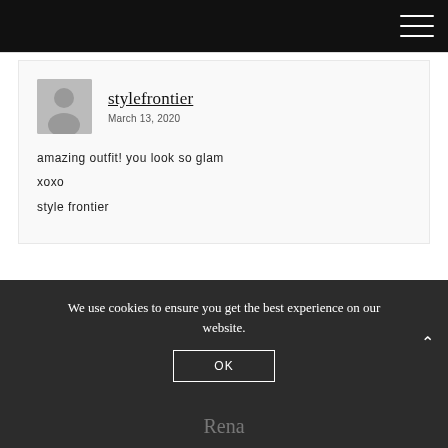stylefrontier — navigation menu
stylefrontier
March 13, 2020

amazing outfit! you look so glam
xoxo
style frontier
We use cookies to ensure you get the best experience on our website.
OK
Rena